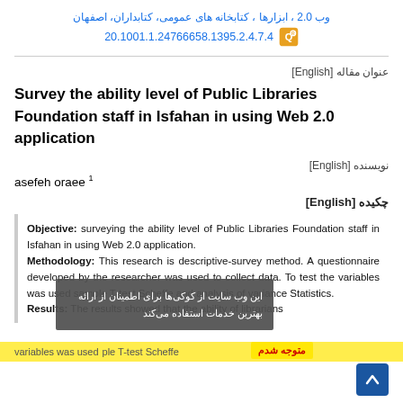وب 2.0 ، ابزارها ، کتابخانه های عمومی، کتابداران، اصفهان
20.1001.1.24766658.1395.2.4.7.4
عنوان مقاله [English]
Survey the ability level of Public Libraries Foundation staff in Isfahan in using Web 2.0 application
نویسنده [English]
asefeh oraee 1
چکیده [English]
Objective: surveying the ability level of Public Libraries Foundation staff in Isfahan in using Web 2.0 application. Methodology: This research is descriptive-survey method. A questionnaire developed by the researcher was used to collect data. To test the variables was used sample T-test Scheffe and analysis of variance Statistics. Results: The results showed that the ability of librarians
این وب سایت از کوکی‌ها برای اطمینان از ارائه بهترین خدمات استفاده می‌کند
متوجه شدم